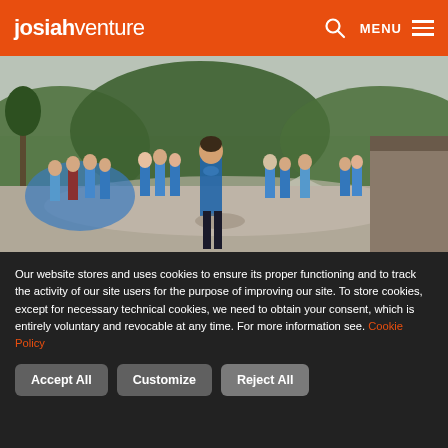josiahventure — MENU
[Figure (photo): Group of young people outdoors at a camp, many wearing blue t-shirts, gathered on a gravel path with green hills and forest in the background. A smiling young man in a blue t-shirt stands prominently in the foreground.]
Our website stores and uses cookies to ensure its proper functioning and to track the activity of our site users for the purpose of improving our site. To store cookies, except for necessary technical cookies, we need to obtain your consent, which is entirely voluntary and revocable at any time. For more information see. Cookie Policy
Accept All   Customize   Reject All